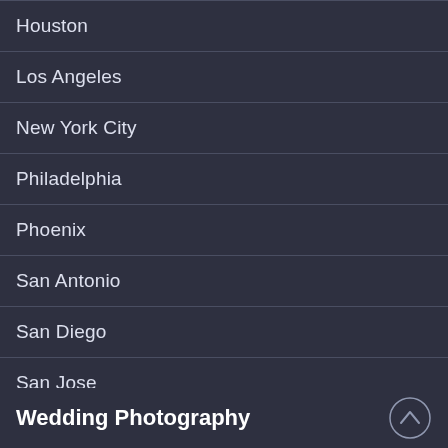Houston
Los Angeles
New York City
Philadelphia
Phoenix
San Antonio
San Diego
San Jose
Wedding Photography